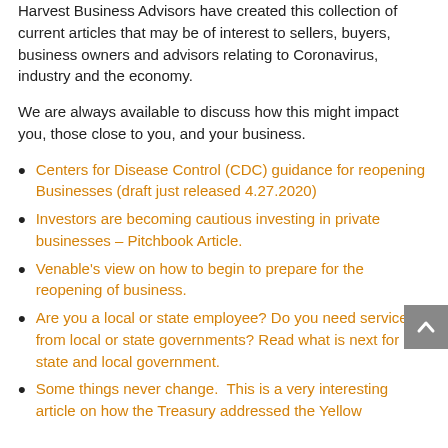Harvest Business Advisors have created this collection of current articles that may be of interest to sellers, buyers, business owners and advisors relating to Coronavirus, industry and the economy.
We are always available to discuss how this might impact you, those close to you, and your business.
Centers for Disease Control (CDC) guidance for reopening Businesses (draft just released 4.27.2020)
Investors are becoming cautious investing in private businesses – Pitchbook Article.
Venable's view on how to begin to prepare for the reopening of business.
Are you a local or state employee? Do you need services from local or state governments? Read what is next for state and local government.
Some things never change.  This is a very interesting article on how the Treasury addressed the Yellow